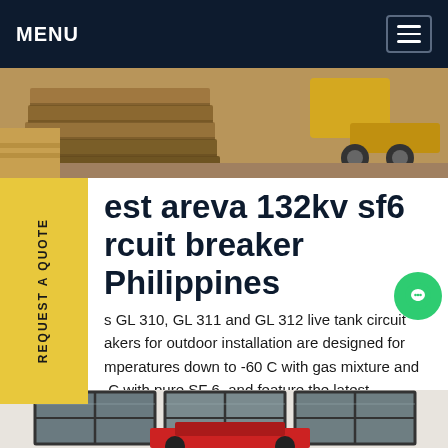MENU
[Figure (photo): Outdoor construction/lumber yard scene with stacked wooden beams and heavy machinery in background]
best areva 132kv sf6 circuit breaker Philippines
s GL 310, GL 311 and GL 312 live tank circuit akers for outdoor installation are designed for mperatures down to -60 C with gas mixture and C with pure SF 6, and feature the latest hnologies in interrupter chambers and spring-erated mechanisms.Get price
[Figure (photo): Building exterior with industrial equipment, showing large dark-framed windows and red machinery at bottom]